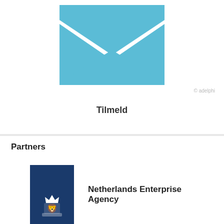[Figure (illustration): Blue envelope icon with white V-shaped flap on front, closed envelope shape]
© adelphi
Tilmeld
Partners
[Figure (logo): Netherlands Enterprise Agency logo: dark navy blue rectangle with white royal coat of arms at bottom and text 'Netherlands Enterprise Agency' to the right]